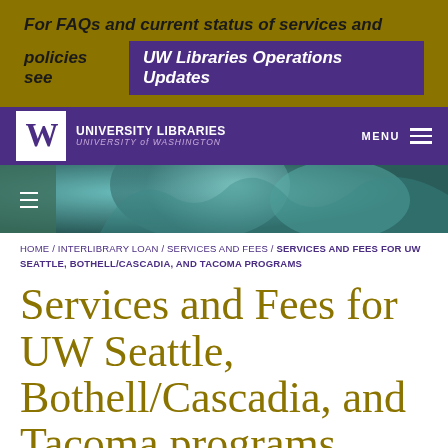For FAQs and current status of services and policies see UW Libraries Operations Updates
[Figure (screenshot): University of Washington Libraries navigation bar with purple background, UW logo (white W), text UNIVERSITY LIBRARIES UNIVERSITY of WASHINGTON, and MENU hamburger icon]
[Figure (photo): Close-up photo of decorative metalwork items with teal/green patina]
HOME / INTERLIBRARY LOAN / SERVICES AND FEES / SERVICES AND FEES FOR UW SEATTLE, BOTHELL/CASCADIA, AND TACOMA PROGRAMS
Services and Fees for UW Seattle, Bothell/Cascadia, and Tacoma programs
Washington State customers will be charged local sales tax